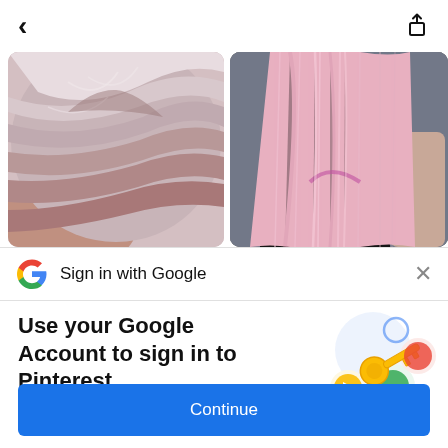[Figure (screenshot): Top navigation bar with back arrow (left) and share/upload icon (right) on white background]
[Figure (photo): Two photos of hair: left shows close-up of short silvery-pink hair; right shows long pink/rose-gold straight hair from behind]
[Figure (screenshot): Google Sign in bar with Google G logo, text 'Sign in with Google', and X close button]
Use your Google Account to sign in to Pinterest
No more passwords to remember. Signing in is fast, simple and secure.
[Figure (illustration): Google key illustration with colorful circles and a gold key icon]
Continue